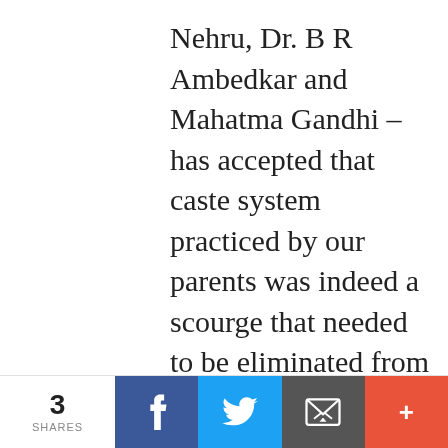Nehru, Dr. B R Ambedkar and Mahatma Gandhi – has accepted that caste system practiced by our parents was indeed a scourge that needed to be eliminated from Indian society; and once they accepted the problem in our midst they were able to initiate great social, political and legal reforms. Millions of Dalits who lived on the margins of Indian society for centuries were
3 SHARES | Facebook | Twitter | Email | +